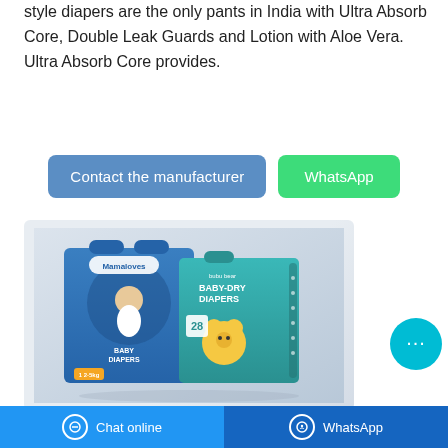style diapers are the only pants in India with Ultra Absorb Core, Double Leak Guards and Lotion with Aloe Vera. Ultra Absorb Core provides.
[Figure (other): Two buttons: a blue 'Contact the manufacturer' button and a green 'WhatsApp' button]
[Figure (photo): Product image showing two diaper packages: a blue 'Mamaloves Baby Diapers' box and a teal 'bubu bear Baby-Dry Diapers' box on a light grey background]
Chat online   WhatsApp